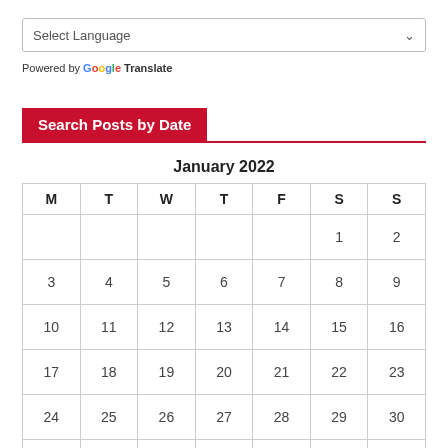[Figure (screenshot): Select Language dropdown box with chevron arrow]
Powered by Google Translate
Search Posts by Date
| M | T | W | T | F | S | S |
| --- | --- | --- | --- | --- | --- | --- |
|  |  |  |  |  | 1 | 2 |
| 3 | 4 | 5 | 6 | 7 | 8 | 9 |
| 10 | 11 | 12 | 13 | 14 | 15 | 16 |
| 17 | 18 | 19 | 20 | 21 | 22 | 23 |
| 24 | 25 | 26 | 27 | 28 | 29 | 30 |
| 31 |  |  |  |  |  |  |